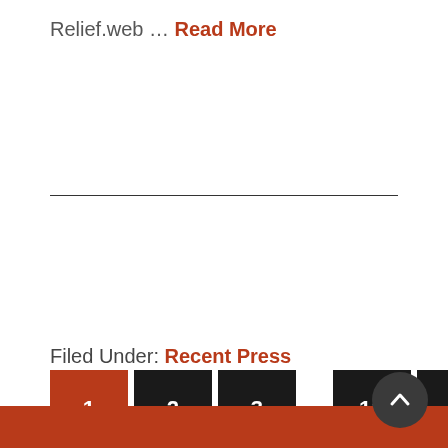Relief.web … Read More
Filed Under: Recent Press
1  2  3  ...  18  NEXT PAGE »